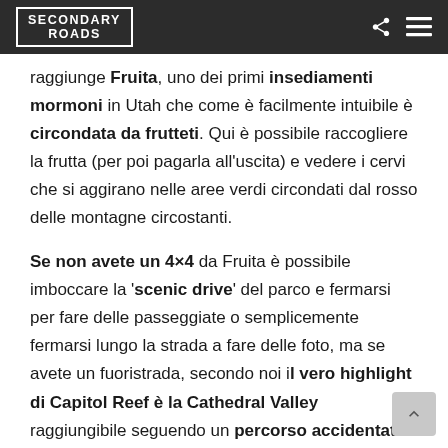SECONDARY ROADS
raggiunge Fruita, uno dei primi insediamenti mormoni in Utah che come è facilmente intuibile è circondata da frutteti. Qui è possibile raccogliere la frutta (per poi pagarla all'uscita) e vedere i cervi che si aggirano nelle aree verdi circondati dal rosso delle montagne circostanti.
Se non avete un 4×4 da Fruita è possibile imboccare la 'scenic drive' del parco e fermarsi per fare delle passeggiate o semplicemente fermarsi lungo la strada a fare delle foto, ma se avete un fuoristrada, secondo noi il vero highlight di Capitol Reef è la Cathedral Valley raggiungibile seguendo un percorso accidentato e impegnativo di un centinaio di